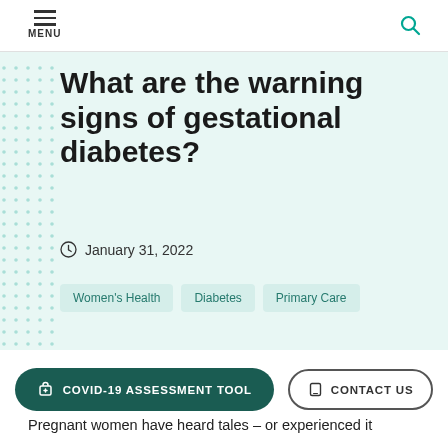MENU
What are the warning signs of gestational diabetes?
January 31, 2022
Women's Health
Diabetes
Primary Care
COVID-19 ASSESSMENT TOOL
CONTACT US
Pregnant women have heard tales – or experienced it